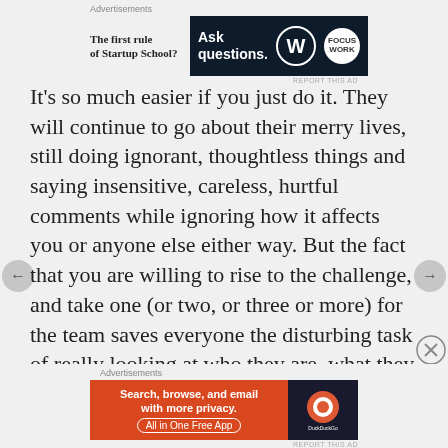Advertisements
[Figure (other): Top advertisement banner: left side shows bold text 'The first rule of Startup School?', right side shows dark navy banner with 'Ask questions.' text and WordPress and another logo]
It's so much easier if you just do it. They will continue to go about their merry lives, still doing ignorant, thoughtless things and saying insensitive, careless, hurtful comments while ignoring how it affects you or anyone else either way. But the fact that you are willing to rise to the challenge, and take one (or two, or three or more) for the team saves everyone the disturbing task of really looking at who they are, what they say or do and how it actually affects anyone –  remaining unaccountable for their actions and words. It allows them to ignore how they're actions and words hurt you,
Advertisements
[Figure (other): Bottom advertisement banner: orange section with 'Search, browse, and email with more privacy. All in One Free App' and dark section with DuckDuckGo logo]